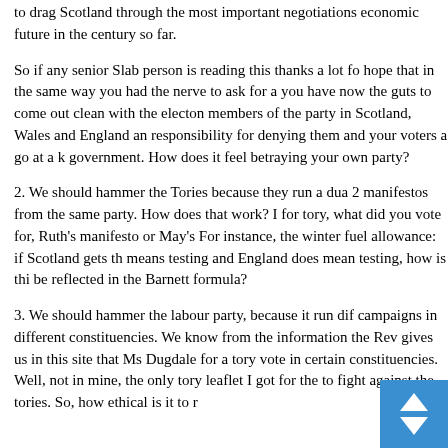to drag Scotland through the most important negotiations economic future in the century so far.
So if any senior Slab person is reading this thanks a lot fo hope that in the same way you had the nerve to ask for a you have now the guts to come out clean with the electon members of the party in Scotland, Wales and England an responsibility for denying them and your voters a go at a k government. How does it feel betraying your own party?
2. We should hammer the Tories because they run a dua 2 manifestos from the same party. How does that work? I for tory, what did you vote for, Ruth's manifesto or May's For instance, the winter fuel allowance: if Scotland gets th means testing and England does mean testing, how is thi be reflected in the Barnett formula?
3. We should hammer the labour party, because it run dif campaigns in different constituencies. We know from the information the Rev gives us in this site that Ms Dugdale for a tory vote in certain constituencies. Well, not in mine, the only tory leaflet I got for the to fight against the tories. So, how ethical is it to r